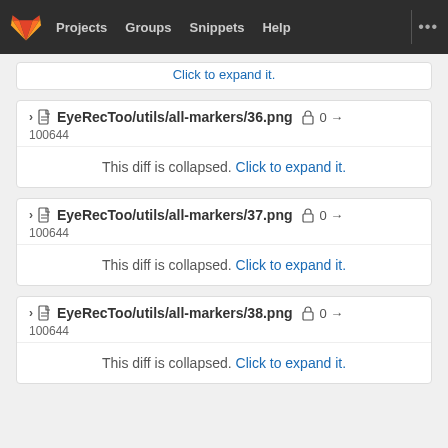Projects  Groups  Snippets  Help
EyeRecToo/utils/all-markers/36.png  0 → 100644
This diff is collapsed. Click to expand it.
EyeRecToo/utils/all-markers/37.png  0 → 100644
This diff is collapsed. Click to expand it.
EyeRecToo/utils/all-markers/38.png  0 → 100644
This diff is collapsed. Click to expand it.